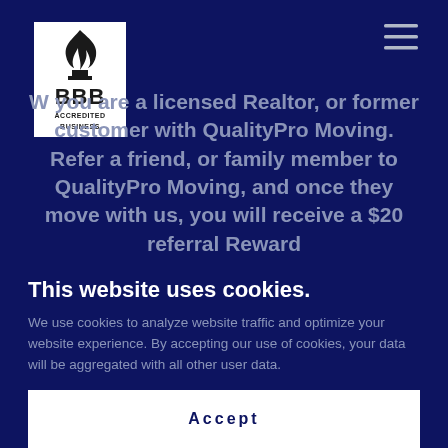[Figure (logo): BBB Accredited Business logo — stylized torch flame icon above 'BBB' text and 'ACCREDITED BUSINESS' text on white background]
[Figure (other): Hamburger menu icon (three horizontal lines) in top-right corner]
W you are a licensed Realtor, or former customer with QualityPro Moving. Refer a friend, or family member to QualityPro Moving, and once they move with us, you will receive a $20 referral Reward
This website uses cookies.
We use cookies to analyze website traffic and optimize your website experience. By accepting our use of cookies, your data will be aggregated with all other user data.
Accept